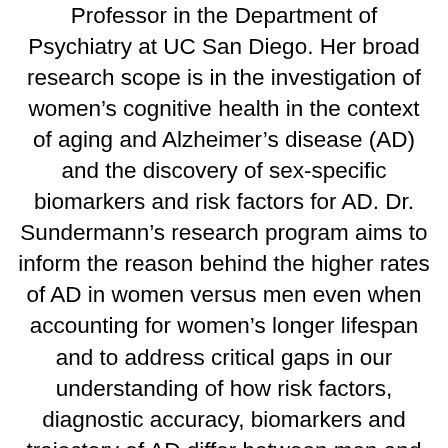Professor in the Department of Psychiatry at UC San Diego. Her broad research scope is in the investigation of women's cognitive health in the context of aging and Alzheimer's disease (AD) and the discovery of sex-specific biomarkers and risk factors for AD. Dr. Sundermann's research program aims to inform the reason behind the higher rates of AD in women versus men even when accounting for women's longer lifespan and to address critical gaps in our understanding of how risk factors, diagnostic accuracy, biomarkers and trajectory of AD differ between men and women. She does this through a comprehensive research program involving neuropsychological, genetic, biomarker and neuroimaging data. Her overarching goal is for the discovery of sex differences and sex-specific mechanisms and risk factors to inform the development of risk reduction and therapeutic